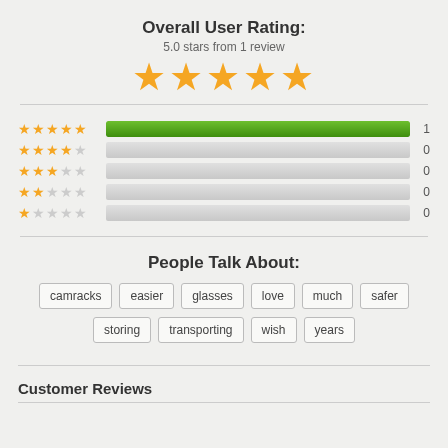Overall User Rating:
5.0 stars from 1 review
[Figure (infographic): Five gold stars representing 5.0 overall rating]
[Figure (bar-chart): Star rating breakdown]
People Talk About:
camracks
easier
glasses
love
much
safer
storing
transporting
wish
years
Customer Reviews